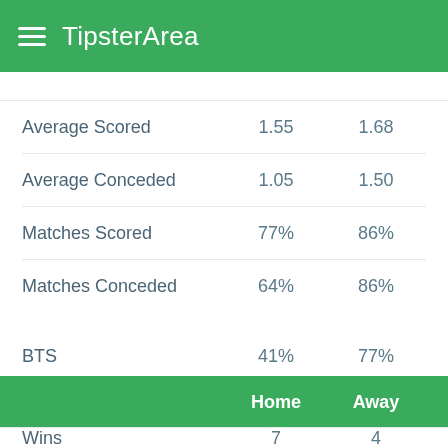TipsterArea
|  | Home | Away |
| --- | --- | --- |
| Average Scored | 1.55 | 1.68 |
| Average Conceded | 1.05 | 1.50 |
| Matches Scored | 77% | 86% |
| Matches Conceded | 64% | 86% |
| BTS | 41% | 77% |
| Over 1.5 | 77% | 91% |
| Over 2.5 | 45% | 77% |
| Over 3.5 | 23% | 32% |
|  | Home | Away |
| --- | --- | --- |
| Wins | 7 | 4 |